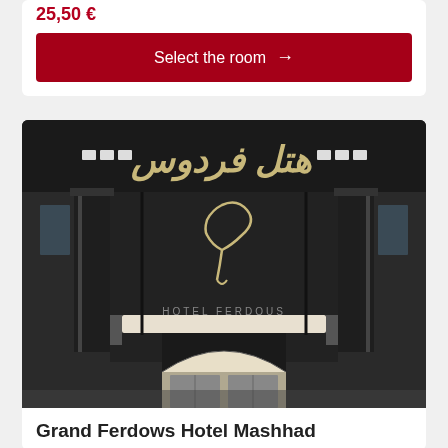25.50 €
Select the room →
[Figure (photo): Exterior facade of Grand Ferdows Hotel Mashhad with dark marble cladding, Persian/Arabic script signage, decorative hotel logo, and arched entrance.]
Grand Ferdows Hotel Mashhad